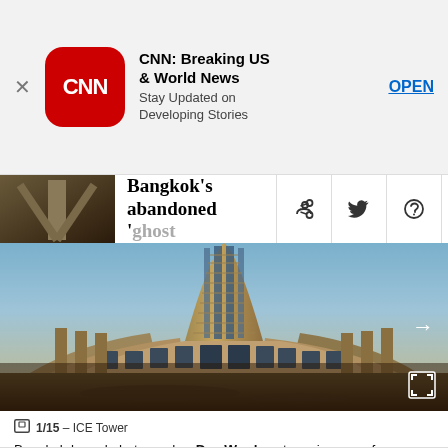[Figure (screenshot): CNN app advertisement banner with CNN logo icon, app name 'CNN: Breaking US & World News', subtitle 'Stay Updated on Developing Stories', and OPEN button. Close X button on left.]
Bangkok's abandoned 'ghost
[Figure (photo): Wide-angle fisheye photograph of an abandoned skyscraper (ICE Tower) in Bangkok. The tall cylindrical tower dominates the center, with curved lower floors spread wide. The building appears desolate and unmaintained with a dramatic sky background.]
1/15 – ICE Tower
Bangkok-based photographer Dax Ward captures images of abandoned buildings. Credit: Dax Ward